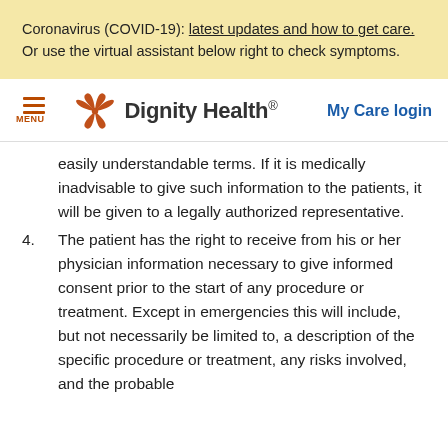Coronavirus (COVID-19): latest updates and how to get care. Or use the virtual assistant below right to check symptoms.
[Figure (logo): Dignity Health logo with stylized orange butterfly/flower icon and 'Dignity Health.' wordmark]
My Care login
easily understandable terms. If it is medically inadvisable to give such information to the patients, it will be given to a legally authorized representative.
4. The patient has the right to receive from his or her physician information necessary to give informed consent prior to the start of any procedure or treatment. Except in emergencies this will include, but not necessarily be limited to, a description of the specific procedure or treatment, any risks involved, and the probable